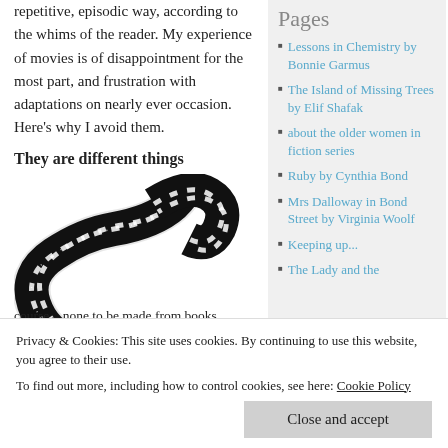repetitive, episodic way, according to the whims of the reader. My experience of movies is of disappointment for the most part, and frustration with adaptations on nearly ever occasion. Here's why I avoid them.
They are different things
[Figure (illustration): A wavy black film strip illustration, winding in an S-curve shape against a white background.]
Pages
Lessons in Chemistry by Bonnie Garmus
The Island of Missing Trees by Elif Shafak
about the older women in fiction series
Ruby by Cynthia Bond
Mrs Dalloway in Bond Street by Virginia Woolf
Keeping up...
Privacy & Cookies: This site uses cookies. By continuing to use this website, you agree to their use.
To find out more, including how to control cookies, see here: Cookie Policy
Close and accept
course – none to be made from books without a
The Lady and the